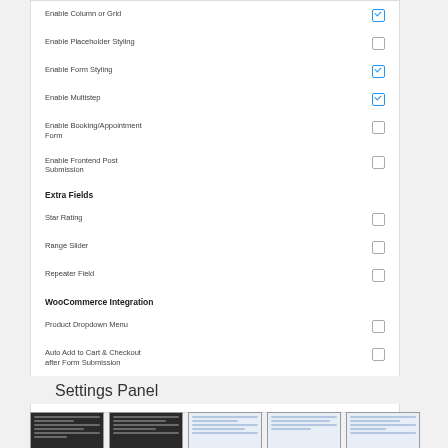Enable Column or Grid [checked]
Enable Placeholder Styling [unchecked]
Enable Form Styling [checked]
Enable Multistep [checked]
Enable Booking/Appointment Form [unchecked]
Enable Frontend Post Submission [unchecked]
Extra Fields
Star Rating [unchecked]
Range Slider [unchecked]
Repeater Field [unchecked]
WooCommerce Integration
Product Dropdown Menu [unchecked]
Auto Add to Cart & Checkout after Form Submission [unchecked]
Save Changes
Settings Panel
[Figure (screenshot): Five thumbnail screenshots of the Settings Panel]